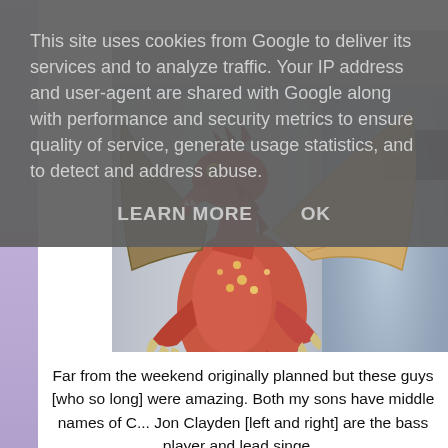This site uses cookies from Google to deliver its services and to analyze traffic. Your IP address and user-agent are shared with Google along with performance and security metrics to ensure quality of service, generate usage statistics, and to detect and address abuse.
LEARN MORE    OK
[Figure (photo): A rendered 3D dragon creature with red and orange coloring, large wings, spikes, and a muscular body, appearing to be an augmented reality overlay on a real-world background showing what appears to be the interior of a building with glass and metallic elements.]
Far from the weekend originally planned but these guys [who so long] were amazing. Both my sons have middle names of C... Jon Clayden [left and right] are the bass player and lead singe...